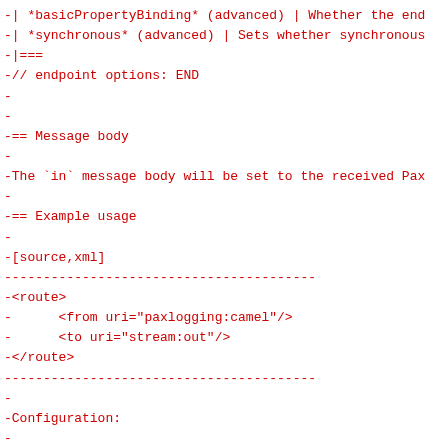-| *basicPropertyBinding* (advanced) | Whether the end
-| *synchronous* (advanced) | Sets whether synchronous
-|===
-// endpoint options: END
-
-
-== Message body
-
-The `in` message body will be set to the received Pax
-
-== Example usage
-
-[source,xml]
----------------------------------------
-<route>
-      <from uri="paxlogging:camel"/>
-      <to uri="stream:out"/>
-</route>
----------------------------------------
-
-Configuration:
-